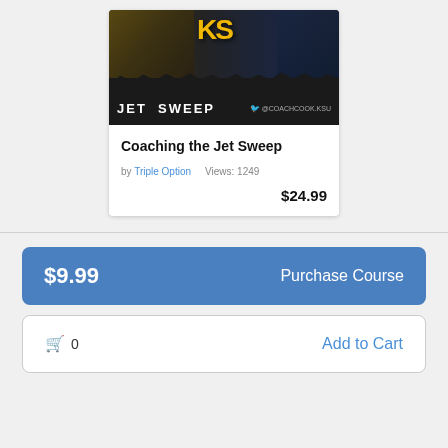[Figure (illustration): Product card thumbnail showing a football coaching course banner: KSU logo in gold on black background with player photos. Black banner reads JET SWEEP with @COACHCOOK.KSU twitter handle.]
Coaching the Jet Sweep
by Triple Option    Views: 1249
$24.99
$9.99    Purchase Course
0    Add to Cart